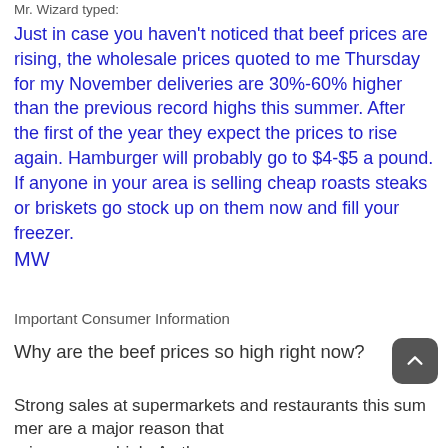Mr. Wizard typed:
Just in case you haven't noticed that beef prices are rising, the wholesale prices quoted to me Thursday for my November deliveries are 30%-60% higher than the previous record highs this summer. After the first of the year they expect the prices to rise again. Hamburger will probably go to $4-$5 a pound. If anyone in your area is selling cheap roasts steaks or briskets go stock up on them now and fill your freezer.
MW
Important Consumer Information
Why are the beef prices so high right now?
Strong sales at supermarkets and restaurants this summer are a major reason that prices are so high. As the economy recovers, consumers are dining out more.